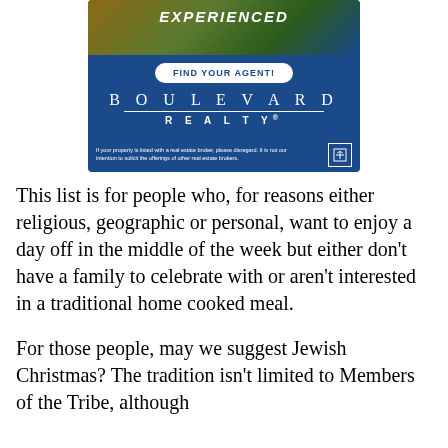[Figure (illustration): Boulevard Realty advertisement showing a garden path photo at top with 'EXPERIENCED' text overlay, a white pill-shaped button reading 'FIND YOUR AGENT!', and the Boulevard Realty logo with legal disclaimer and equal housing logo at the bottom.]
This list is for people who, for reasons either religious, geographic or personal, want to enjoy a day off in the middle of the week but either don't have a family to celebrate with or aren't interested in a traditional home cooked meal.
For those people, may we suggest Jewish Christmas? The tradition isn't limited to Members of the Tribe, although